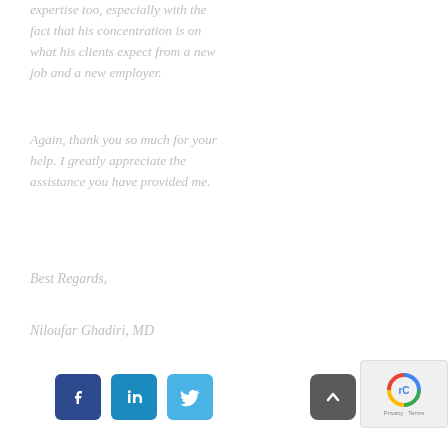expertise too, especially with the fact that his concentration is on what his clients expect from a new job and a new employer.
Again, thank you so much for your help. I greatly appreciate the assistance you have provided me.
Best Regards,
Niloufar Ghadiri, MD
[Figure (other): Social media icon buttons for Facebook, LinkedIn, and Twitter, plus a scroll-to-top button and reCAPTCHA widget]